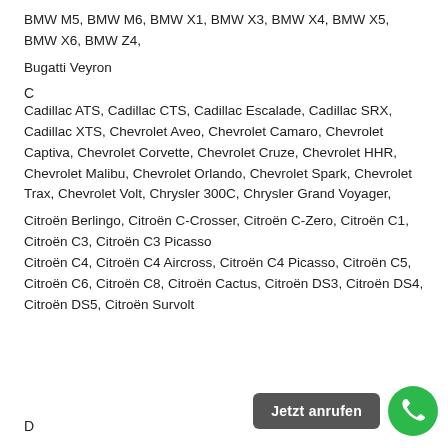BMW M5, BMW M6, BMW X1, BMW X3, BMW X4, BMW X5, BMW X6, BMW Z4,
Bugatti Veyron
C
Cadillac ATS, Cadillac CTS, Cadillac Escalade, Cadillac SRX, Cadillac XTS, Chevrolet Aveo, Chevrolet Camaro, Chevrolet Captiva, Chevrolet Corvette, Chevrolet Cruze, Chevrolet HHR, Chevrolet Malibu, Chevrolet Orlando, Chevrolet Spark, Chevrolet Trax, Chevrolet Volt, Chrysler 300C, Chrysler Grand Voyager,
Citroën Berlingo, Citroën C-Crosser, Citroën C-Zero, Citroën C1, Citroën C3, Citroën C3 Picasso
Citroën C4, Citroën C4 Aircross, Citroën C4 Picasso, Citroën C5, Citroën C6, Citroën C8, Citroën Cactus, Citroën DS3, Citroën DS4, Citroën DS5, Citroën Survolt
D